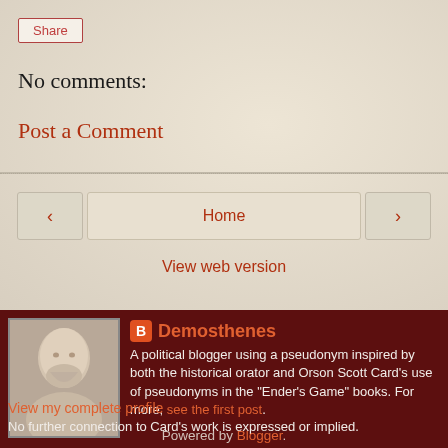Share
No comments:
Post a Comment
‹
Home
›
View web version
[Figure (photo): Marble bust of ancient Greek orator Demosthenes]
Demosthenes
A political blogger using a pseudonym inspired by both the historical orator and Orson Scott Card's use of pseudonyms in the "Ender's Game" books. For more, see the first post. No further connection to Card's work is expressed or implied.
View my complete profile
Powered by Blogger.